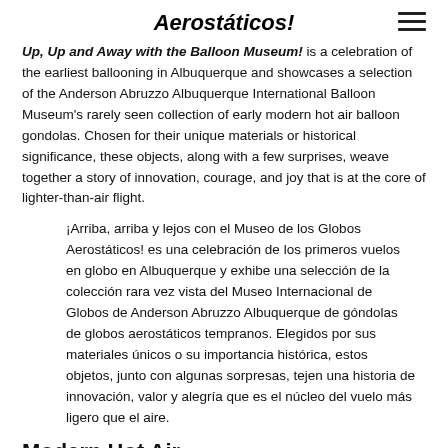Aerostáticos!
Up, Up and Away with the Balloon Museum! is a celebration of the earliest ballooning in Albuquerque and showcases a selection of the Anderson Abruzzo Albuquerque International Balloon Museum's rarely seen collection of early modern hot air balloon gondolas. Chosen for their unique materials or historical significance, these objects, along with a few surprises, weave together a story of innovation, courage, and joy that is at the core of lighter-than-air flight.
¡Arriba, arriba y lejos con el Museo de los Globos Aerostáticos! es una celebración de los primeros vuelos en globo en Albuquerque y exhibe una selección de la colección rara vez vista del Museo Internacional de Globos de Anderson Abruzzo Albuquerque de góndolas de globos aerostáticos tempranos. Elegidos por sus materiales únicos o su importancia histórica, estos objetos, junto con algunas sorpresas, tejen una historia de innovación, valor y alegría que es el núcleo del vuelo más ligero que el aire.
Modern Hot Air